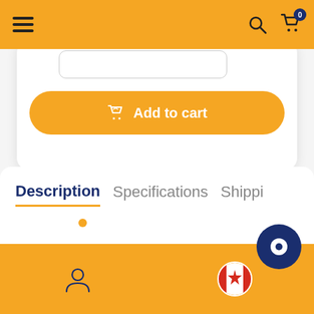[Figure (screenshot): Top navigation bar with hamburger menu icon on left, search and cart icons on right, yellow/amber background]
[Figure (screenshot): White product card with partially visible quantity input field at top and yellow Add to cart button]
Add to cart
[Figure (screenshot): Tab navigation row showing Description (active, bold, dark blue, with orange underline), Specifications, and Shippi tabs]
[Figure (screenshot): Bottom navigation bar with user profile icon, Canadian flag icon, and chat button on yellow/amber background]